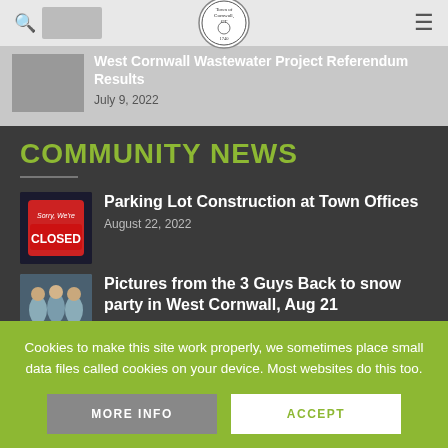July 14, 2022
[Figure (logo): Town of Cornwall CT 1740 seal logo]
West Cornwall Wastewater Project Referendum Results
July 9, 2022
COMMUNITY NEWS
Parking Lot Construction at Town Offices
August 22, 2022
[Figure (photo): Sorry We're Closed sign with red and blue background]
Pictures from the 3 Guys Back to snow party in West Cornwall, Aug 21
[Figure (photo): Group photo of people outdoors]
Cookies to make this site work properly, we sometimes place small data files called cookies on your device. Most websites do this too.
MORE INFO
ACCEPT